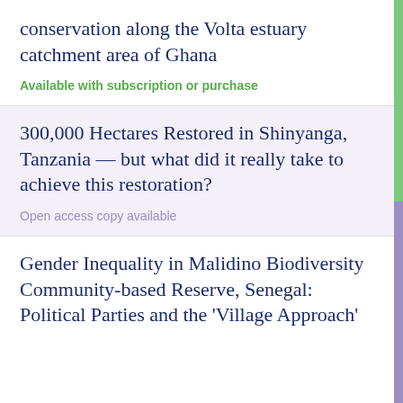conservation along the Volta estuary catchment area of Ghana
Available with subscription or purchase
300,000 Hectares Restored in Shinyanga, Tanzania — but what did it really take to achieve this restoration?
Open access copy available
Gender Inequality in Malidino Biodiversity Community-based Reserve, Senegal: Political Parties and the 'Village Approach'